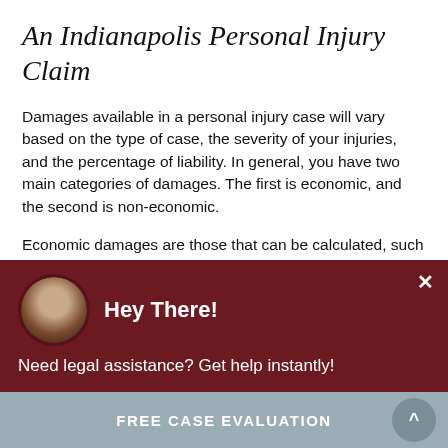An Indianapolis Personal Injury Claim
Damages available in a personal injury case will vary based on the type of case, the severity of your injuries, and the percentage of liability. In general, you have two main categories of damages. The first is economic, and the second is non-economic.
Economic damages are those that can be calculated, such as medical expenses, your missed time from work, property damage, and more. There is typically some financial proof that
[Figure (screenshot): Chat popup overlay with dark red background, circular avatar photo of a woman, bold white text 'Hey There!', close button X, and message 'Need legal assistance? Get help instantly!']
FREE CASE EVALUATION